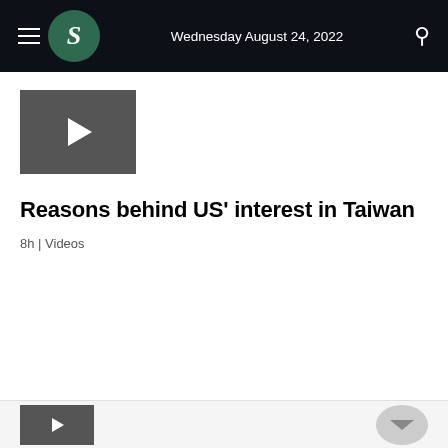Wednesday August 24, 2022
[Figure (screenshot): Video thumbnail with play button icon on dark gray background]
Reasons behind US' interest in Taiwan
8h | Videos